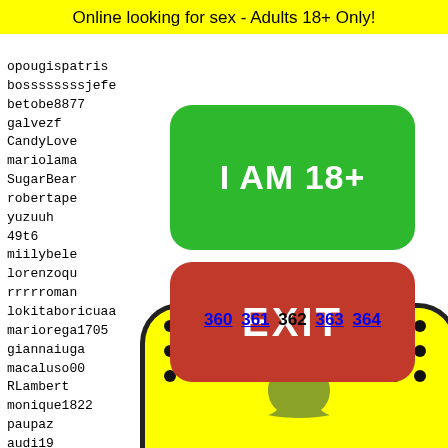Online looking for sex - Adults 18+ Only!
opougispatris
bossssssssjefe
betobe8877
galvezf
CandyLove
mariolama
SugarBear
robertape
yuzuuh
49t6
miilybele
lorenzoqu
rrrroman
lokitaboricuaa
mariorega1705
giannaiuga
macaluso00
RLambert
monique1822
paupaz
audi19
giammy
thisun
sfp67
giiiul
ironpa
[Figure (other): Green button with text I AM 18+]
[Figure (other): Red EXIT button]
360 361 362 363 364
[Figure (illustration): Snapchat ghost icon on yellow background with black dots pattern]